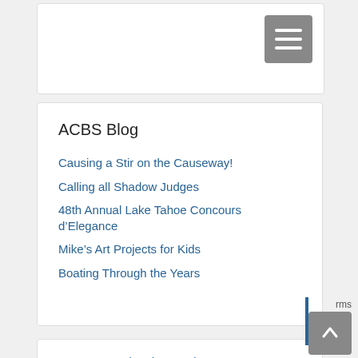[Figure (screenshot): Hamburger menu icon button (three horizontal white lines on grey background)]
ACBS Blog
Causing a Stir on the Causeway!
Calling all Shadow Judges
48th Annual Lake Tahoe Concours d’Elegance
Mike’s Art Projects for Kids
Boating Through the Years
2018 International Boat Show
ACBS Award Stories
ACBS Boat Classifications
ACBS International Boat Show Stories